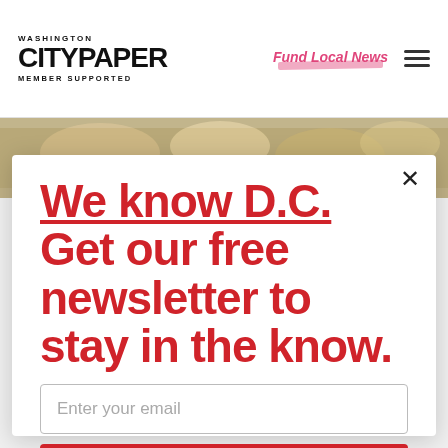WASHINGTON CITYPAPER MEMBER SUPPORTED
Fund Local News
[Figure (screenshot): Background photo of a crowd of people]
We know D.C. Get our free newsletter to stay in the know.
Enter your email
Sign Up
Unsubscribe any time.